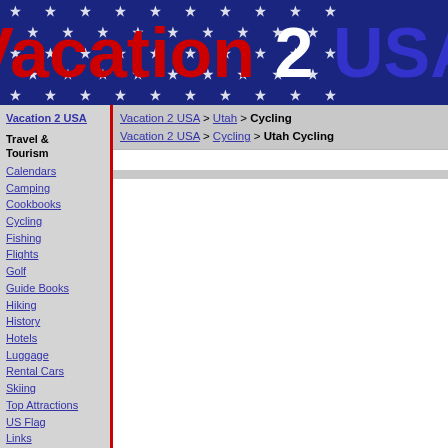Vacation 2 USA
Vacation 2 USA > Utah > Cycling
Vacation 2 USA > Cycling > Utah Cycling
Vacation 2 USA
Travel & Tourism
Calendars
Camping
Cookbooks
Cycling
Fishing
Flights
Golf
Guide Books
Hiking
History
Hotels
Luggage
Rental Cars
Skiing
Top Attractions
US Flag
Links